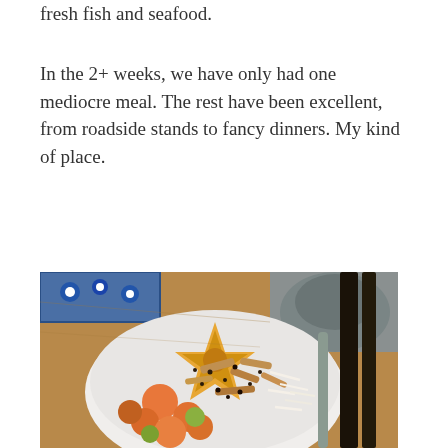fresh fish and seafood.
In the 2+ weeks, we have only had one mediocre meal. The rest have been excellent, from roadside stands to fancy dinners. My kind of place.
[Figure (photo): A bowl of colorful fruit topped with granola, chia seeds, and shredded coconut, garnished with a star fruit slice. Served in a white bowl on a wooden table with chopsticks visible on the right side and a blue floral plate partially visible on the left.]